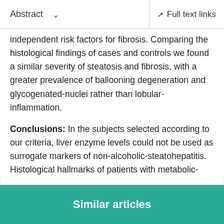Abstract  ∨  Full text links
independent risk factors for fibrosis. Comparing the histological findings of cases and controls we found a similar severity of steatosis and fibrosis, with a greater prevalence of ballooning degeneration and glycogenated-nuclei rather than lobular-inflammation.
Conclusions: In the subjects selected according to our criteria, liver enzyme levels could not be used as surrogate markers of non-alcoholic-steatohepatitis. Histological hallmarks of patients with metabolic-syndrome, normal liver enzymes and non-alcoholic-steatohepatitis consist to a lesser degree of lobular-inflammation and a more severe ballooning and glycogenated-nuclei.
Similar articles